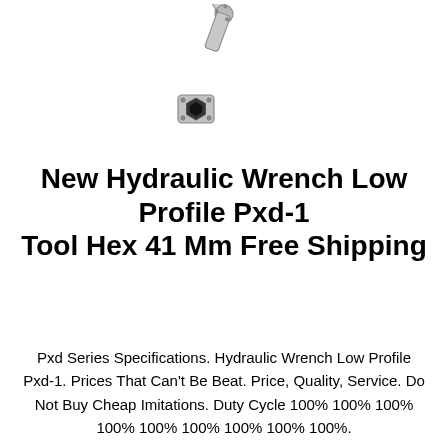[Figure (photo): A hydraulic torque wrench with low profile hex head (Pxd-1 model), silver/chrome finish, shown at an angle against white background.]
New Hydraulic Wrench Low Profile Pxd-1 Tool Hex 41 Mm Free Shipping
Pxd Series Specifications. Hydraulic Wrench Low Profile Pxd-1. Prices That Can't Be Beat. Price, Quality, Service. Do Not Buy Cheap Imitations. Duty Cycle 100% 100% 100% 100% 100% 100% 100% 100% 100%.